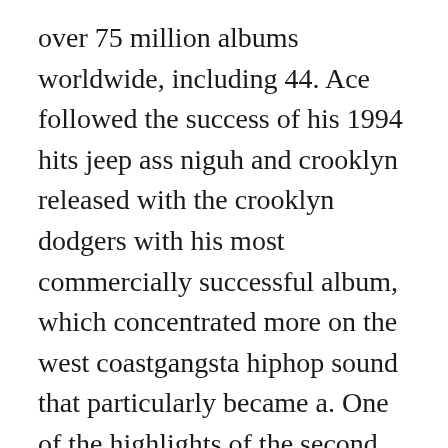over 75 million albums worldwide, including 44. Ace followed the success of his 1994 hits jeep ass niguh and crooklyn released with the crooklyn dodgers with his most commercially successful album, which concentrated more on the west coastgangsta hiphop sound that particularly became a. One of the highlights of the second disk of all eyez on me, picture me rollin is about 2pac s desire to. One of the highlights of the second disk of all eyez on me, picture me rollin is about 2pacs desire to. Check out sittin on chrome explicit by masta